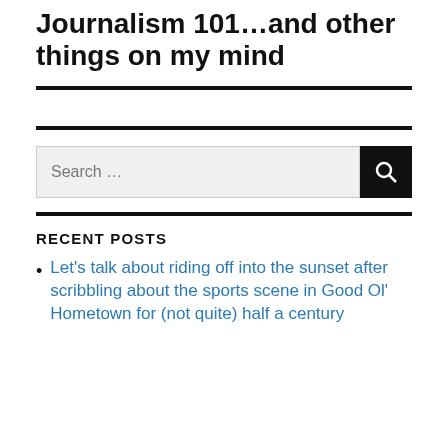Journalism 101…and other things on my mind
RECENT POSTS
Let's talk about riding off into the sunset after scribbling about the sports scene in Good Ol' Hometown for (not quite) half a century